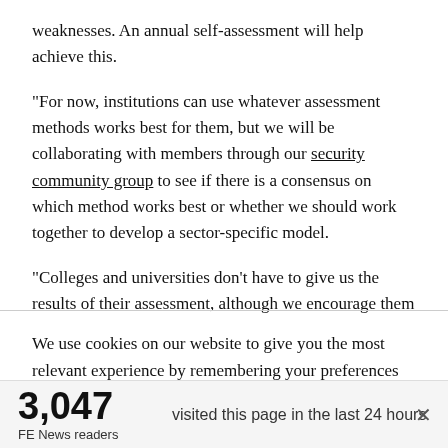weaknesses. An annual self-assessment will help achieve this.
“For now, institutions can use whatever assessment methods works best for them, but we will be collaborating with members through our security community group to see if there is a consensus on which method works best or whether we should work together to develop a sector-specific model.
“Colleges and universities don’t have to give us the results of their assessment, although we encourage them to share. The data, which will be confidential, will help Jisc to identify key
We use cookies on our website to give you the most relevant experience by remembering your preferences and repeat visits. By clicking “Accept”, you consent to the use of ALL the cookies. However you may visit Cookie
3,047 FE News readers visited this page in the last 24 hours